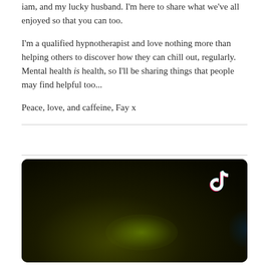iam, and my lucky husband. I'm here to share what we've all enjoyed so that you can too.
I'm a qualified hypnotherapist and love nothing more than helping others to discover how they can chill out, regularly. Mental health is health, so I'll be sharing things that people may find helpful too...
Peace, love, and caffeine, Fay x
[Figure (screenshot): Dark TikTok video thumbnail with TikTok logo in upper right corner, dark background with green and blue light effects]